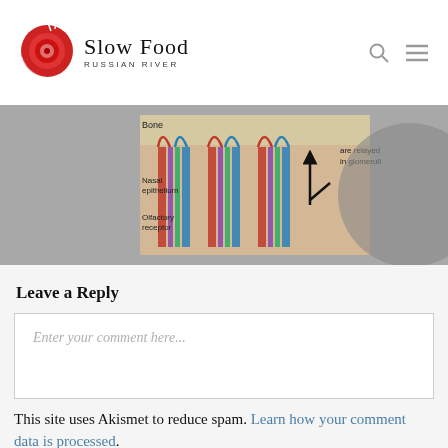Slow Food RUSSIAN RIVER
[Figure (illustration): Anatomical illustration showing olfactory system cross-section with labeled parts: Bone, Nasal epithelium, Olfactory receptor, with colored nerve fibers and arrows indicating signal pathways. Text visible: 'are relayed in glomeruli']
Leave a Reply
Enter your comment here...
This site uses Akismet to reduce spam. Learn how your comment data is processed.